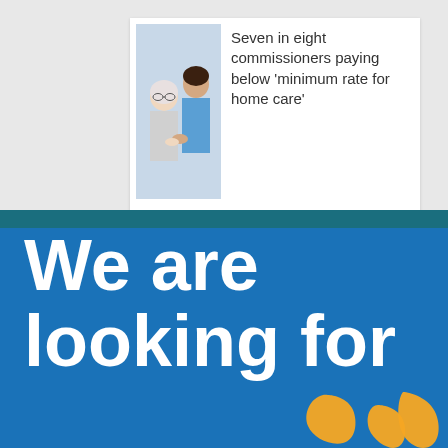[Figure (photo): Photo of an elderly man and a female caregiver, sitting together, the caregiver wearing blue]
Seven in eight commissioners paying below 'minimum rate for home care'
We are looking for
[Figure (illustration): Two gold/yellow star shapes at the bottom right of the blue section]